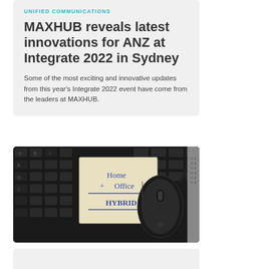UNIFIED COMMUNICATIONS
MAXHUB reveals latest innovations for ANZ at Integrate 2022 in Sydney
Some of the most exciting and innovative updates from this year's Integrate 2022 event have come from the leaders at MAXHUB.
[Figure (photo): A sticky note on a laptop keyboard next to a mouse. The sticky note reads: Home + Office HYBRID]
[Figure (photo): Partial view of a second article card (light grey background), cropped at the bottom of the page.]